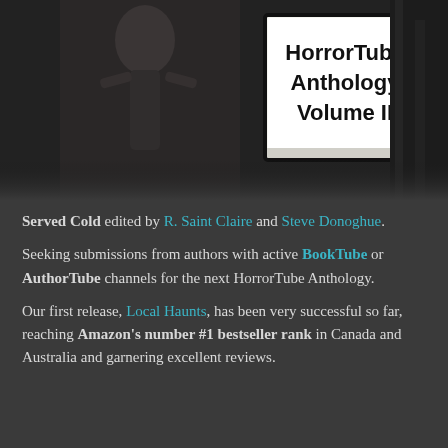[Figure (illustration): Book cover for the HorrorTube Anthology Volume II, showing a skeletal figure holding an open book against a dark forest background. The book cover title reads 'HorrorTube Anthology Volume II'.]
Served Cold edited by R. Saint Claire and Steve Donoghue.
Seeking submissions from authors with active BookTube or AuthorTube channels for the next HorrorTube Anthology.
Our first release, Local Haunts, has been very successful so far, reaching Amazon's number #1 bestseller rank in Canada and Australia and garnering excellent reviews.